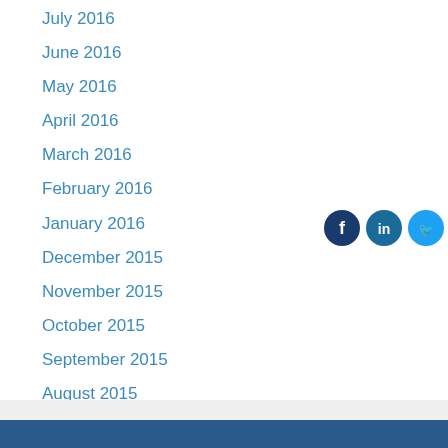July 2016
June 2016
May 2016
April 2016
March 2016
February 2016
January 2016
December 2015
November 2015
October 2015
September 2015
August 2015
[Figure (illustration): Social media icons: Facebook, LinkedIn, Twitter]